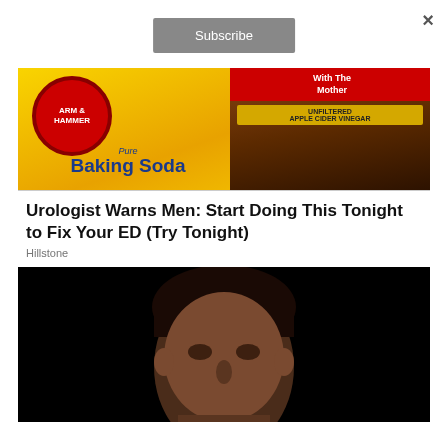×
Subscribe
[Figure (photo): Baking soda box (Arm & Hammer) and a bottle of apple cider vinegar with 'With The Mother' label]
Urologist Warns Men: Start Doing This Tonight to Fix Your ED (Try Tonight)
Hillstone
[Figure (photo): Young man with dark hair against a black background, shown from shoulders up]